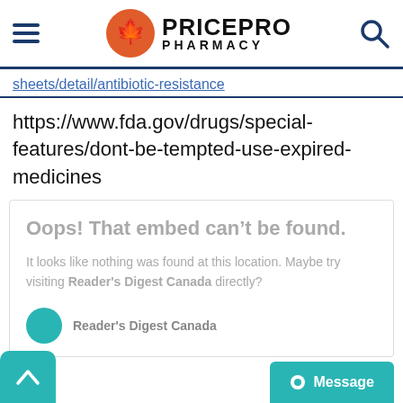PricePro Pharmacy
sheets/detail/antibiotic-resistance
https://www.fda.gov/drugs/special-features/dont-be-tempted-use-expired-medicines
[Figure (screenshot): Embedded content error box: 'Oops! That embed can't be found.' with message about Reader's Digest Canada]
Reader's Digest Canada